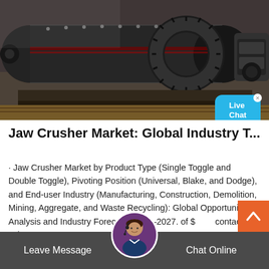[Figure (photo): Industrial ball mill / jaw crusher machinery — large cylindrical metal drum with gear ring, heavy industrial equipment in a factory/warehouse setting]
Jaw Crusher Market: Global Industry T...
· Jaw Crusher Market by Product Type (Single Toggle and Double Toggle), Pivoting Position (Universal, Blake, and Dodge), and End-user Industry (Manufacturing, Construction, Demolition, Mining, Aggregate, and Waste Recycling): Global Opportunity Analysis and Industry Forecast, 2020–2027. of $... contact sales.
Leave Message   Chat Online